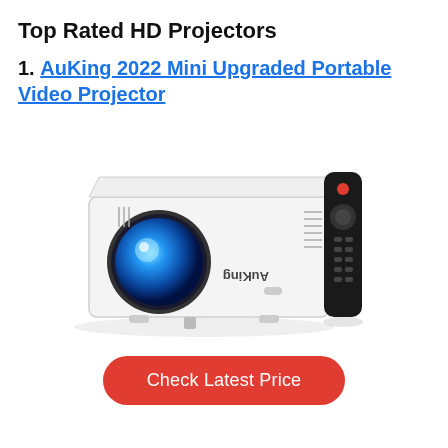Top Rated HD Projectors
1. AuKing 2022 Mini Upgraded Portable Video Projector
[Figure (photo): AuKing mini projector (white, compact box shape with blue lens) shown with black TV remote control, product photo on white background]
Check Latest Price